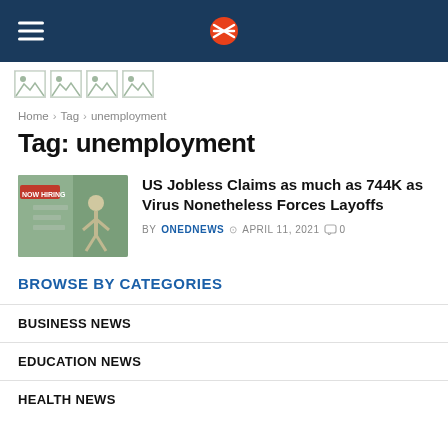ONEDNEWS site header with hamburger menu and logo
[Figure (logo): Four broken image placeholder icons in a row]
Home › Tag › unemployment
Tag: unemployment
[Figure (photo): Thumbnail image of a hiring sign with a person figure, greenish tones]
US Jobless Claims as much as 744K as Virus Nonetheless Forces Layoffs
BY ONEDNEWS  APRIL 11, 2021  0
BROWSE BY CATEGORIES
BUSINESS NEWS
EDUCATION NEWS
HEALTH NEWS